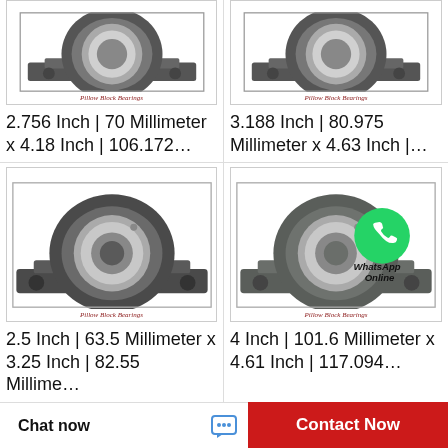[Figure (photo): Pillow block bearing product image, top-left]
Pillow Block Bearings
2.756 Inch | 70 Millimeter x 4.18 Inch | 106.172…
[Figure (photo): Pillow block bearing product image, top-right]
Pillow Block Bearings
3.188 Inch | 80.975 Millimeter x 4.63 Inch |…
[Figure (photo): Pillow block bearing product image, bottom-left]
Pillow Block Bearings
2.5 Inch | 63.5 Millimeter x 3.25 Inch | 82.55 Millime…
[Figure (photo): Pillow block bearing product image with WhatsApp Online badge, bottom-right]
Pillow Block Bearings
4 Inch | 101.6 Millimeter x 4.61 Inch | 117.094…
Chat now   Contact Now